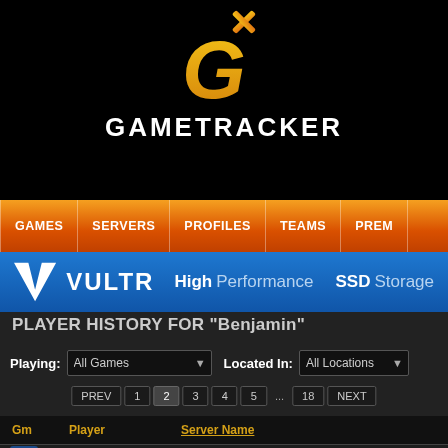[Figure (logo): GameTracker logo with orange/gold G icon and white GAMETRACKER text on black background]
GAMES | SERVERS | PROFILES | TEAMS | PREM
[Figure (infographic): Vultr advertisement banner: VULTR logo, High Performance, SSD Storage on blue gradient background]
PLAYER HISTORY FOR "Benjamin"
Playing: All Games   Located In: All Locations
PREV 1 2 3 4 5 ... 18 NEXT
| Gm | Player | Server Name |
| --- | --- | --- |
| [CS:S icon] | Benjamin | 🇩🇪 [XL] Oldies || No Pro || No AWP || |
| [CS:S icon] | Benjamin | 🇺🇸 =(eGO)= | DUST2 | NO AWPS/AUTOS | Ec |
| [CS icon] | Benjamin | 🇦🇷 [ARG]CrisisGamer CASUAL[DROP DE C |
| [CS icon] | Benjamin | 🇺🇸 [sG] Capture The Flag [Custom Shop + J |
| [CS icon] | Benjamin | 🇨🇿 [exfrag.com] Retakes 2| gloves,knife,ws |